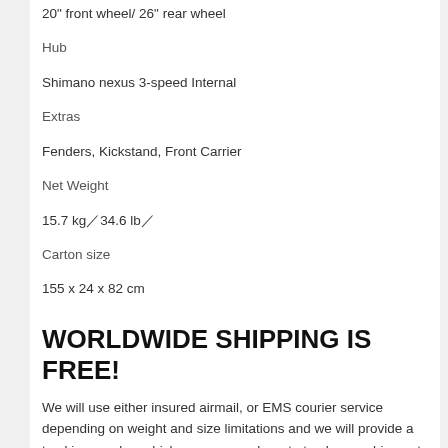20" front wheel/ 26" rear wheel
Hub
Shimano nexus 3-speed Internal
Extras
Fenders, Kickstand, Front Carrier
Net Weight
15.7 kg／34.6 lb／
Carton size
155 x 24 x 82 cm
WORLDWIDE SHIPPING IS FREE!
We will use either insured airmail, or EMS courier service depending on weight and size limitations and we will provide a tracking number which you can use here to track your shipment: Chunghwa Post Tracking Service
Delivery takes between 5 to 14 days depending on your location. Please contact us if you require a faster service as we can upgrade to fast courier service for an additional fee.
For the items that are in stock, we can ship them to you within 24 hours. If your order for items that are not in stock, we will advise you of when we can deliver, as soon as the manufacturer or a distributor informs us.